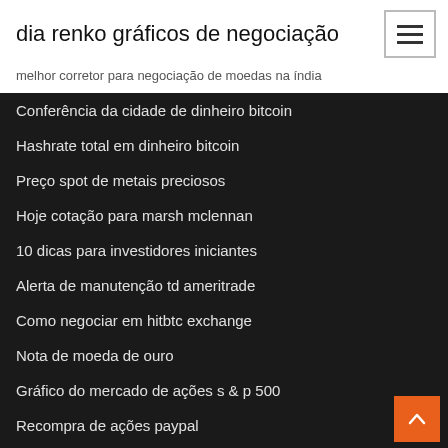dia renko gráficos de negociação
melhor corretor para negociação de moedas na índia
Conferência da cidade de dinheiro bitcoin
Hashrate total em dinheiro bitcoin
Preço spot de metais preciosos
Hoje cotação para marsh mclennan
10 dicas para investidores iniciantes
Alerta de manutenção td ameritrade
Como negociar em hitbtc exchange
Nota de moeda de ouro
Gráfico do mercado de ações s & p 500
Recompra de ações paypal